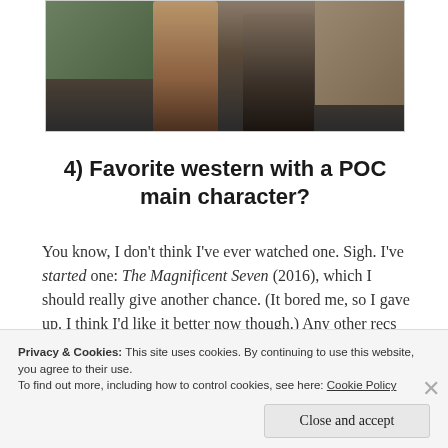[Figure (photo): Two figures standing outdoors in a western/frontier setting with rocky and green background]
4) Favorite western with a POC main character?
You know, I don't think I've ever watched one. Sigh. I've started one: The Magnificent Seven (2016), which I should really give another chance. (It bored me, so I gave up. I think I'd like it better now though.) Any other recs for POC-led Westerns?
Privacy & Cookies: This site uses cookies. By continuing to use this website, you agree to their use.
To find out more, including how to control cookies, see here: Cookie Policy
Close and accept